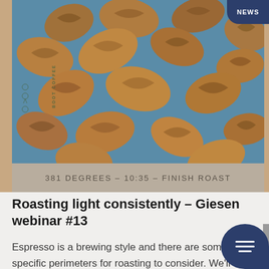[Figure (photo): Close-up photo of multiple roasted coffee beans scattered on a blue surface, photographed from above. The beans are medium-brown colored with visible center creases. A vertical 'BOOT COFFEE' label appears on the left side with icons. A 'NEWS' badge appears in the top right corner.]
381 DEGREES – 10:35 – FINISH ROAST
Roasting light consistently – Giesen webinar #13
Espresso is a brewing style and there are some specific perimeters for roasting to consider. We'll discuss